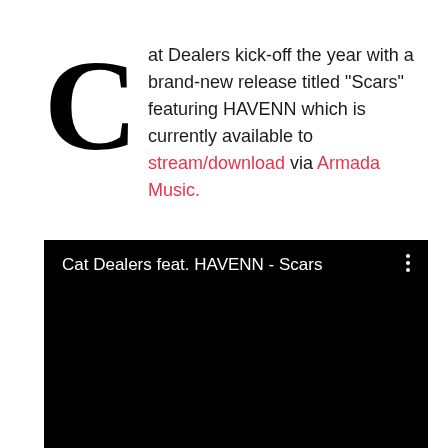Cat Dealers kick-off the year with a brand-new release titled “Scars” featuring HAVENN which is currently available to stream/download via Armada Music.
[Figure (screenshot): Embedded video player with black background showing title 'Cat Dealers feat. HAVENN - Scars' with a three-dot menu icon in the top right corner.]